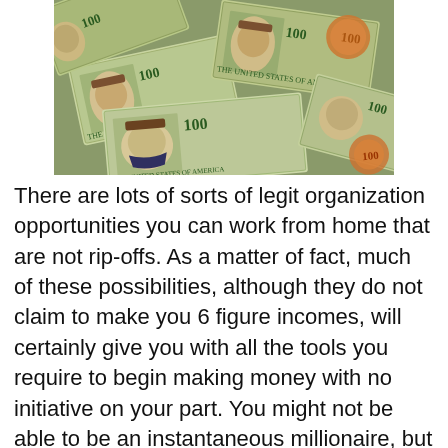[Figure (photo): Pile of US $100 dollar bills spread out, showing multiple banknotes with Benjamin Franklin portraits visible]
There are lots of sorts of legit organization opportunities you can work from home that are not rip-offs. As a matter of fact, much of these possibilities, although they do not claim to make you 6 figure incomes, will certainly give you with all the tools you require to begin making money with no initiative on your part. You might not be able to be an instantaneous millionaire, but there are a host of opportunities that assure you will certainly make enough cash to manage and also provide for your family members. Here are some examples of work at home based business chances where you don't